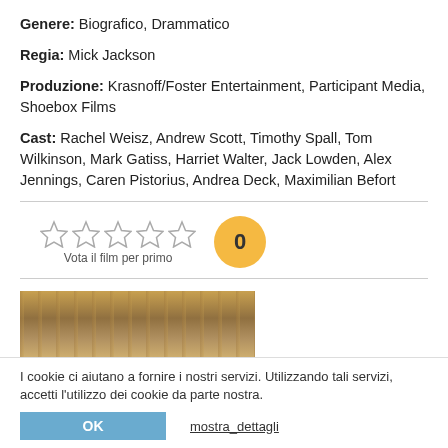Genere: Biografico, Drammatico
Regia: Mick Jackson
Produzione: Krasnoff/Foster Entertainment, Participant Media, Shoebox Films
Cast: Rachel Weisz, Andrew Scott, Timothy Spall, Tom Wilkinson, Mark Gatiss, Harriet Walter, Jack Lowden, Alex Jennings, Caren Pistorius, Andrea Deck, Maximilian Befort
[Figure (other): 5 empty star rating icons with label 'Vota il film per primo' and a yellow circle showing '0']
[Figure (photo): Partial view of a movie scene image showing a crowd in what appears to be a grand hall or colosseum setting]
I cookie ci aiutano a fornire i nostri servizi. Utilizzando tali servizi, accetti l'utilizzo dei cookie da parte nostra.
OK    mostra_dettagli